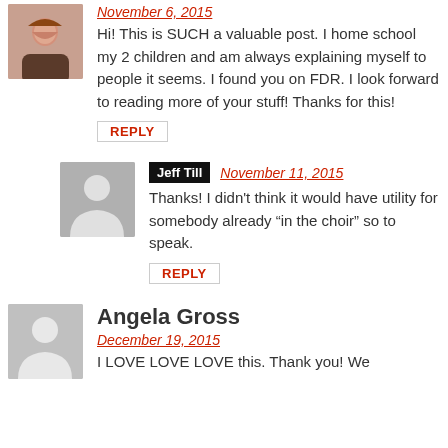[Figure (photo): Profile photo of a woman smiling]
November 6, 2015
Hi! This is SUCH a valuable post. I home school my 2 children and am always explaining myself to people it seems. I found you on FDR. I look forward to reading more of your stuff! Thanks for this!
REPLY
[Figure (illustration): Generic user avatar silhouette (grey)]
Jeff Till  November 11, 2015
Thanks! I didn't think it would have utility for somebody already “in the choir” so to speak.
REPLY
[Figure (illustration): Generic user avatar silhouette (grey)]
Angela Gross
December 19, 2015
I LOVE LOVE LOVE this. Thank you! We